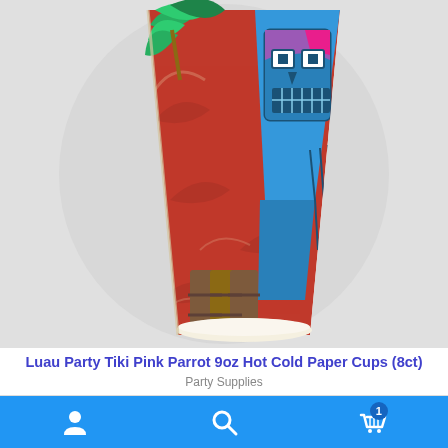[Figure (photo): Close-up photo of a colorful paper cup with a tropical tiki/luau design featuring a pink parrot face, palm tree leaves, bamboo, red and blue tropical patterns, viewed from the side at an angle showing the bottom of the cup.]
Luau Party Tiki Pink Parrot 9oz Hot Cold Paper Cups (8ct) Party Supplies